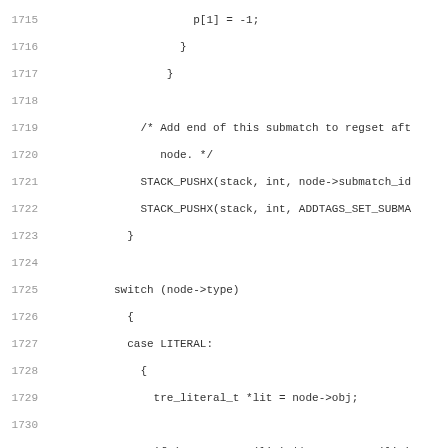[Figure (screenshot): Source code listing in C showing lines 1715-1747 of a regex/NFA-related function, including stack push operations, switch statement on node type, LITERAL case handling, IS_SPECIAL/IS_BACKREF checks, regset handling, and minimal tag assignments.]